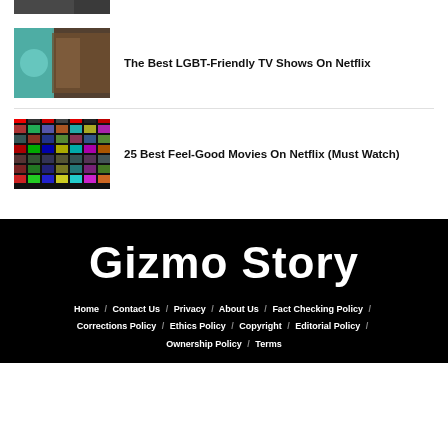[Figure (photo): Partial thumbnail visible at top of page]
The Best LGBT-Friendly TV Shows On Netflix
[Figure (photo): Group of people in front of a doorway, one wearing a teal hoodie]
25 Best Feel-Good Movies On Netflix (Must Watch)
[Figure (photo): Netflix movie grid showing many movie thumbnails]
Gizmo Story
Home / Contact Us / Privacy / About Us / Fact Checking Policy / Corrections Policy / Ethics Policy / Copyright / Editorial Policy / Ownership Policy / Terms